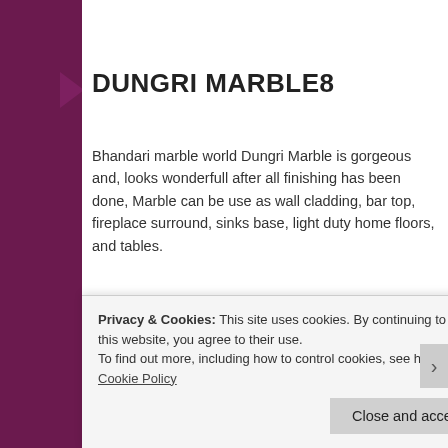DUNGRI MARBLE8
Bhandari marble world Dungri Marble is gorgeous and, looks wonderfull after all finishing has been done, Marble can be use as wall cladding, bar top, fireplace surround, sinks base, light duty home floors, and tables.
[Figure (photo): Photo of Dungri Marble slabs showing grey-white veined marble tiles stacked together]
Privacy & Cookies: This site uses cookies. By continuing to use this website, you agree to their use.
To find out more, including how to control cookies, see here: Cookie Policy
Close and accept